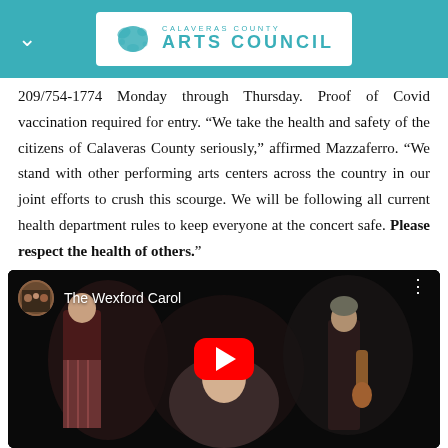Calaveras County Arts Council
209/754-1774 Monday through Thursday. Proof of Covid vaccination required for entry. “We take the health and safety of the citizens of Calaveras County seriously,” affirmed Mazzaferro. “We stand with other performing arts centers across the country in our joint efforts to crush this scourge. We will be following all current health department rules to keep everyone at the concert safe. Please respect the health of others.”
[Figure (screenshot): YouTube video embed showing performers on a dark stage with title 'The Wexford Carol', YouTube play button in center, avatar thumbnail top-left, three vertical dots top-right.]